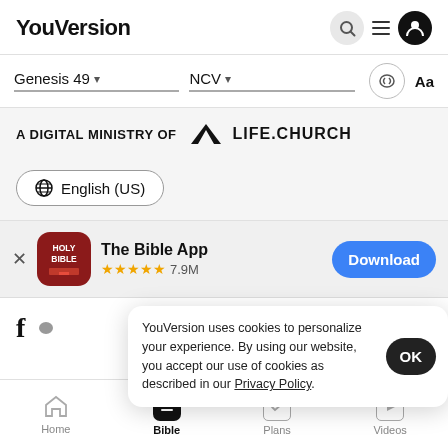YouVersion
Genesis 49 ▾   NCV ▾   🔊  Aa
A DIGITAL MINISTRY OF LIFE.CHURCH
🌐 English (US)
The Bible App ★★★★★ 7.9M   Download
YouVersion uses cookies to personalize your experience. By using our website, you accept our use of cookies as described in our Privacy Policy.   OK
Home   Bible   Plans   Videos